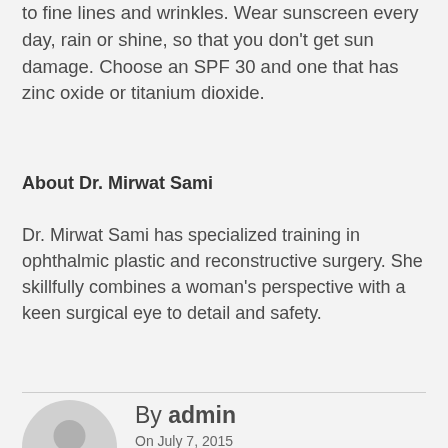to fine lines and wrinkles. Wear sunscreen every day, rain or shine, so that you don't get sun damage. Choose an SPF 30 and one that has zinc oxide or titanium dioxide.
About Dr. Mirwat Sami
Dr. Mirwat Sami has specialized training in ophthalmic plastic and reconstructive surgery. She skillfully combines a woman's perspective with a keen surgical eye to detail and safety.
[Figure (illustration): Generic user avatar icon — grey circle with silhouette of a person's head and shoulders]
By admin
On July 7, 2015
BEAUTY
NUTRITION
SKIN HEALTH
WOMEN'S HEALTH